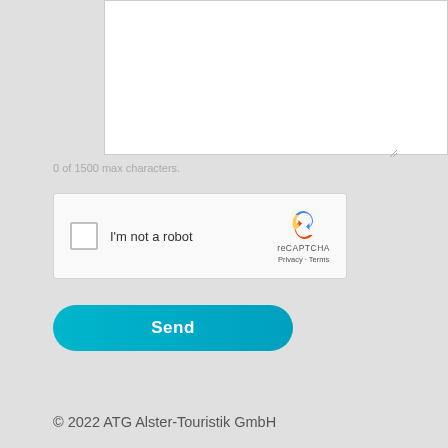[Figure (screenshot): A textarea input field (empty, white background with border) for user text input]
0 of 1500 max characters.
[Figure (other): reCAPTCHA widget with checkbox labeled 'I'm not a robot', reCAPTCHA logo, and Privacy - Terms links]
[Figure (other): Send button — teal/cyan rounded rectangle with bold white 'Send' label]
© 2022 ATG Alster-Touristik GmbH